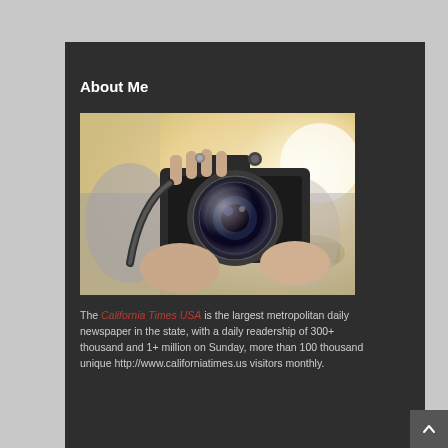About Me
[Figure (photo): Person holding a DSLR camera up to their face, photographing the viewer, with a blurred outdoor background]
The California Times USA is the largest metropolitan daily newspaper in the state, with a daily readership of 300+ thousand and 1+ million on Sunday, more than 100 thousand unique http://www.californiatimes.us visitors monthly.